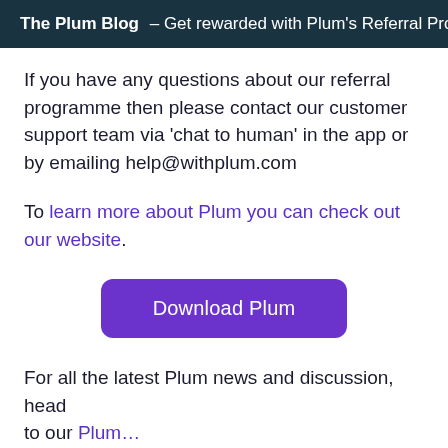The Plum Blog – Get rewarded with Plum's Referral Pro…
If you have any questions about our referral programme then please contact our customer support team via 'chat to human' in the app or by emailing help@withplum.com
To learn more about Plum you can check out our website.
[Figure (other): Download Plum button — a purple rounded rectangle button with white text reading 'Download Plum']
For all the latest Plum news and discussion, head to our Plum…